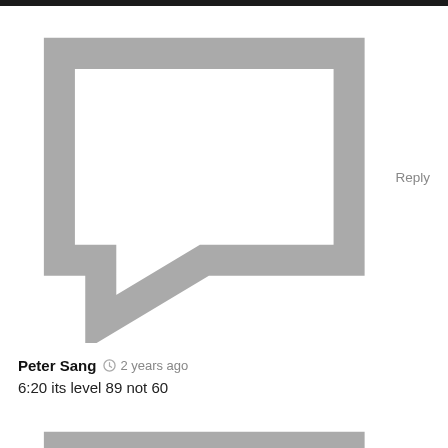Reply
Peter Sang  2 years ago
6:20 its level 89 not 60
Reply
Peter Sang  2 years ago
It took him so long to notice how the guy missed the shot 3:00 🤣🤣❤
Reply
Adauto Teixeira  2 years ago
Lixo
Reply
Adauto Teixeira  2 years ago
Lixko